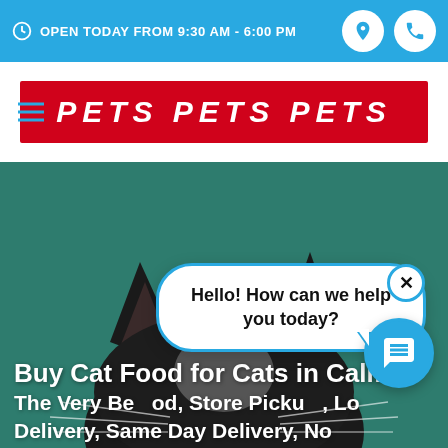OPEN TODAY FROM 9:30 AM - 6:00 PM
[Figure (logo): Pets Pets Pets store logo — white italic bold text on red background]
[Figure (photo): Close-up of a black and white cat's head and ears peeking up against a teal/green background]
Buy Cat Food for Cats in Califon
The Very Best Cat Food, Store Pickup, Curbside Pickup, Local Delivery, Same Day Delivery, No
Hello! How can we help you today?